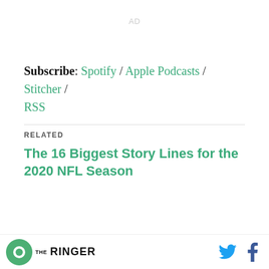AD
Subscribe: Spotify / Apple Podcasts / Stitcher / RSS
RELATED
The 16 Biggest Story Lines for the 2020 NFL Season
The Ringer